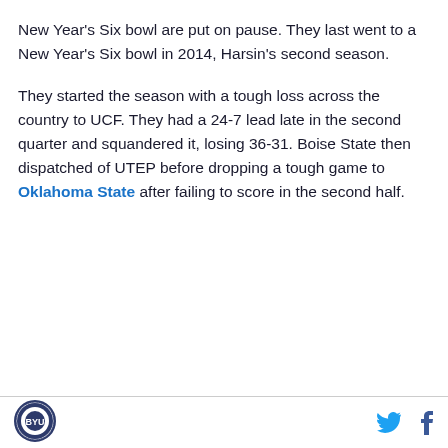New Year's Six bowl are put on pause. They last went to a New Year's Six bowl in 2014, Harsin's second season.
They started the season with a tough loss across the country to UCF. They had a 24-7 lead late in the second quarter and squandered it, losing 36-31. Boise State then dispatched of UTEP before dropping a tough game to Oklahoma State after failing to score in the second half.
[Figure (logo): BYU Cougars circular logo in footer]
[Figure (logo): Twitter bird icon and Facebook f icon in footer]